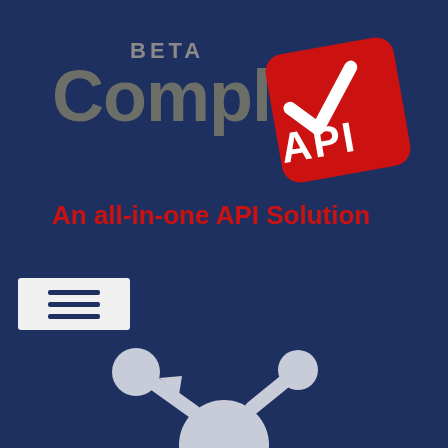[Figure (logo): CompleteAPI beta logo with red badge showing checkmark and text API, tagline An all-in-one API Solution, hamburger menu icon, and network/API connection diagram icon on dark navy background]